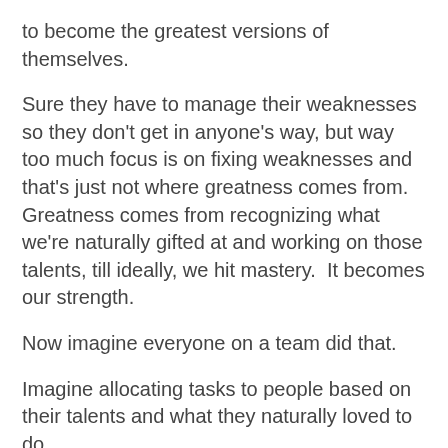to become the greatest versions of themselves.
Sure they have to manage their weaknesses so they don't get in anyone's way, but way too much focus is on fixing weaknesses and that's just not where greatness comes from.  Greatness comes from recognizing what we're naturally gifted at and working on those talents, till ideally, we hit mastery.  It becomes our strength.
Now imagine everyone on a team did that.
Imagine allocating tasks to people based on their talents and what they naturally loved to do.
Imagine how engaged people would be if they got do to what they do best in the way that they uniquely liked do it!